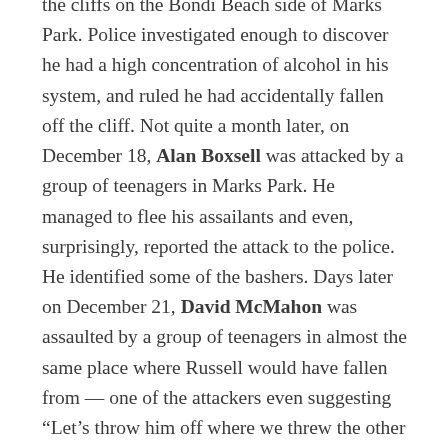the cliffs on the Bondi Beach side of Marks Park. Police investigated enough to discover he had a high concentration of alcohol in his system, and ruled he had accidentally fallen off the cliff. Not quite a month later, on December 18, Alan Boxsell was attacked by a group of teenagers in Marks Park. He managed to flee his assailants and even, surprisingly, reported the attack to the police. He identified some of the bashers. Days later on December 21, David McMahon was assaulted by a group of teenagers in almost the same place where Russell would have fallen from — one of the attackers even suggesting “Let’s throw him off where we threw the other one off.” McMahon managed to escape, and identified some of his assailants to police. Some of them were the same people identified by Boxsell. None of them were arrested due to a “lack of evidence.”